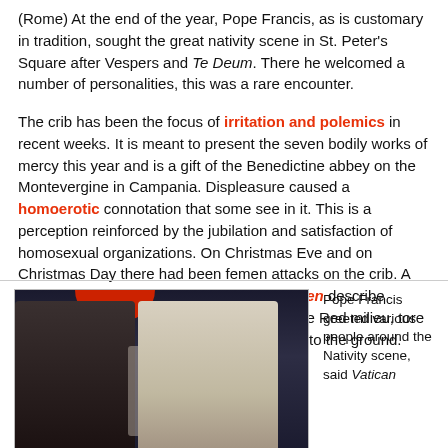(Rome) At the end of the year, Pope Francis, as is customary in tradition, sought the great nativity scene in St. Peter's Square after Vespers and Te Deum. There he welcomed a number of personalities, this was a rare encounter.
The crib has been the focus of irritation and polemics in recent weeks. It is meant to present the seven bodily works of mercy this year and is a gift of the Benedictine abbey on the Montevergine in Campania. Displeasure caused a homoerotic connotation that some see in it. This is a perception reinforced by the jubilation and satisfaction of homosexual organizations. On Christmas Eve and on Christmas Day there had been femen attacks on the crib. A "sextremist", as the female militants of Femen describe themselves, who are often recruited from the Red milieu, tore the baby Jesus from the crib and threw him to the ground.
[Figure (photo): Pope Francis in white papal vestments greeting a dark-suited figure, with crowd in background at night near the Nativity scene in St. Peter's Square.]
Pope Francis greeted various people around the Nativity scene, said Vatican